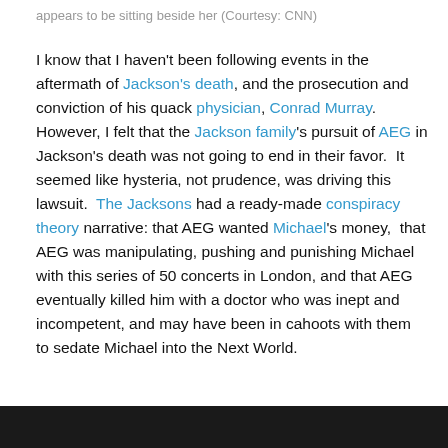appears to be sitting beside her (Courtesy: CNN)
I know that I haven't been following events in the aftermath of Jackson's death, and the prosecution and conviction of his quack physician, Conrad Murray.  However, I felt that the Jackson family's pursuit of AEG in Jackson's death was not going to end in their favor.  It seemed like hysteria, not prudence, was driving this lawsuit.  The Jacksons had a ready-made conspiracy theory narrative: that AEG wanted Michael's money,  that AEG was manipulating, pushing and punishing Michael with this series of 50 concerts in London, and that AEG eventually killed him with a doctor who was inept and incompetent, and may have been in cahoots with them to sedate Michael into the Next World.
[Figure (photo): Dark/black bar at bottom of page]